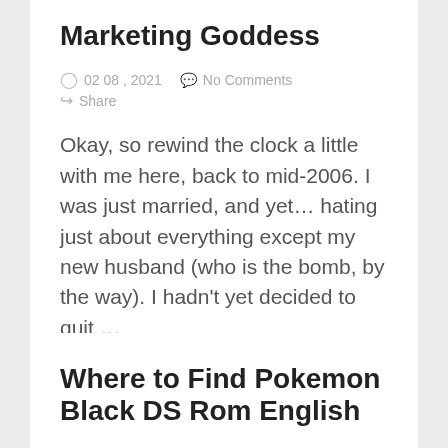Marketing Goddess
02 08 , 2021   No Comments   Share
Okay, so rewind the clock a little with me here, back to mid-2006. I was just married, and yet... hating just about everything except my new husband (who is the bomb, by the way). I hadn't yet decided to quit ...
Where to Find Pokemon Black DS Rom English